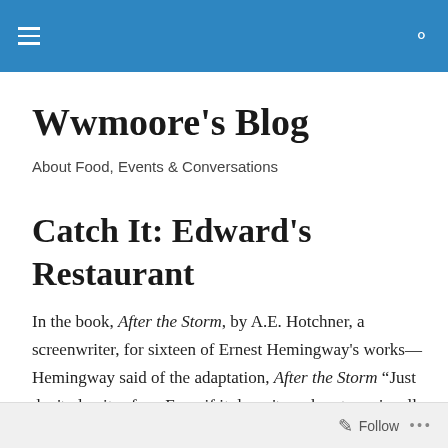[navigation bar with hamburger menu and search icon]
Wwmoore's Blog
About Food, Events & Conversations
Catch It: Edward's Restaurant
In the book, After the Storm, by A.E. Hotchner, a screenwriter, for sixteen of Ernest Hemingway's works—Hemingway said of the adaptation, After the Storm “Just don't play it safe....Even if it doesn't work out, you're all right. The hell with playing it safe.”
When I sat down with Mr. Edwards Youkilis, the owner of
Follow ...